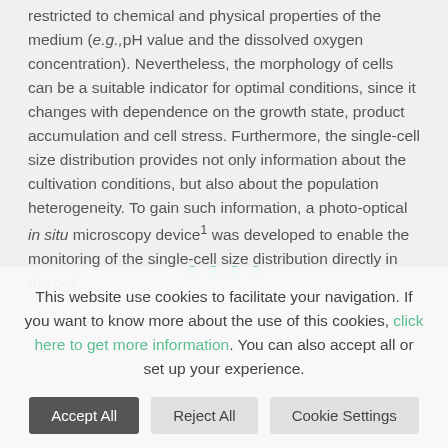restricted to chemical and physical properties of the medium (e.g.,pH value and the dissolved oxygen concentration). Nevertheless, the morphology of cells can be a suitable indicator for optimal conditions, since it changes with dependence on the growth state, product accumulation and cell stress. Furthermore, the single-cell size distribution provides not only information about the cultivation conditions, but also about the population heterogeneity. To gain such information, a photo-optical in situ microscopy device¹ was developed to enable the monitoring of the single-cell size distribution directly in the cell
This website use cookies to facilitate your navigation. If you want to know more about the use of this cookies, click here to get more information. You can also accept all or set up your experience.
Accept All | Reject All | Cookie Settings